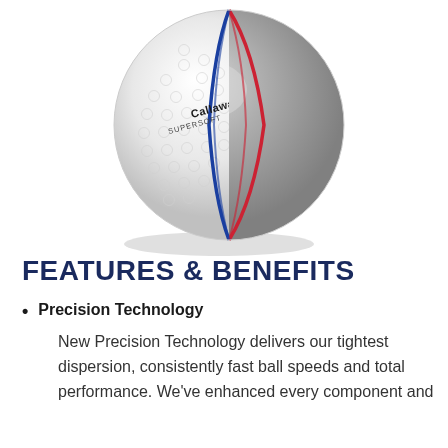[Figure (photo): A Callaway golf ball shown in cross-section, revealing its internal layers. The exterior is white with dimples and Callaway branding. The interior shows a large gray/silver core with red and blue separator lines indicating the multi-layer construction.]
FEATURES & BENEFITS
Precision Technology
New Precision Technology delivers our tightest dispersion, consistently fast ball speeds and total performance. We've enhanced every component and